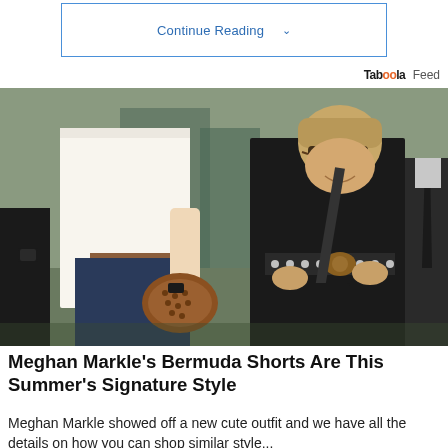Continue Reading
Taboola Feed
[Figure (photo): Two women walking together outdoors. Left person wears a white shirt and navy pants and carries a round beaded brown bag. Right person wears a black long-sleeve outfit with a studded belt and carries a black shoulder bag, wearing sunglasses. A man in a dark suit and tie is partially visible on the right.]
Meghan Markle's Bermuda Shorts Are This Summer's Signature Style
Meghan Markle showed off a new cute outfit and we have all the details on how you can shop similar style...